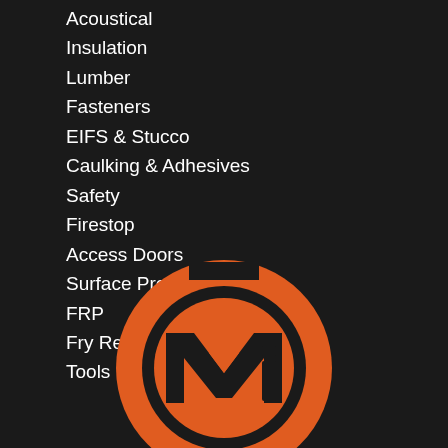Acoustical
Insulation
Lumber
Fasteners
EIFS & Stucco
Caulking & Adhesives
Safety
Firestop
Access Doors
Surface Protection
FRP
Fry Reglet
Tools
[Figure (logo): CMI company logo — orange circular ring with stylized M and i letters inside, dark background]